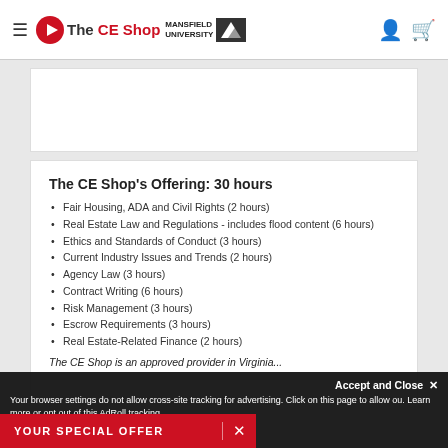The CE Shop | Mansfield University
The CE Shop's Offering: 30 hours
Fair Housing, ADA and Civil Rights (2 hours)
Real Estate Law and Regulations - includes flood content (6 hours)
Ethics and Standards of Conduct (3 hours)
Current Industry Issues and Trends (2 hours)
Agency Law (3 hours)
Contract Writing (6 hours)
Risk Management (3 hours)
Escrow Requirements (3 hours)
Real Estate-Related Finance (2 hours)
The CE Shop is an approved provider in Virginia...
Accept and Close ✕
Your browser settings do not allow cross-site tracking for advertising. Click on this page to allow ou. Learn more or opt out of this AdRoll tracking
YOUR SPECIAL OFFER  ✕